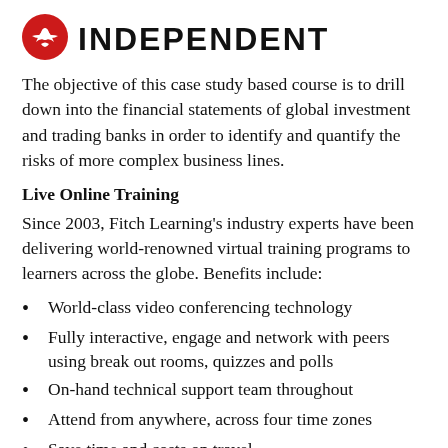INDEPENDENT
The objective of this case study based course is to drill down into the financial statements of global investment and trading banks in order to identify and quantify the risks of more complex business lines.
Live Online Training
Since 2003, Fitch Learning’s industry experts have been delivering world-renowned virtual training programs to learners across the globe. Benefits include:
World-class video conferencing technology
Fully interactive, engage and network with peers using break out rooms, quizzes and polls
On-hand technical support team throughout
Attend from anywhere, across four time zones
Save time and costs on travel